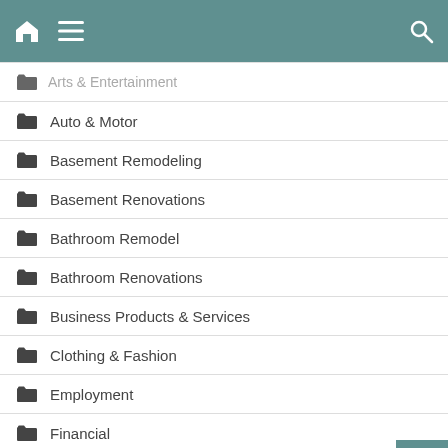Navigation header with home, menu, and search icons
Arts & Entertainment
Auto & Motor
Basement Remodeling
Basement Renovations
Bathroom Remodel
Bathroom Renovations
Business Products & Services
Clothing & Fashion
Employment
Financial
Foods & Culinary
General Article